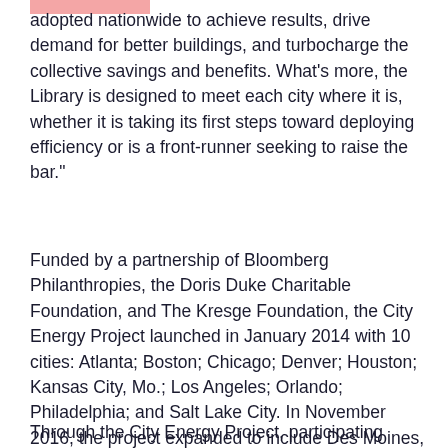adopted nationwide to achieve results, drive demand for better buildings, and turbocharge the collective savings and benefits. What’s more, the Library is designed to meet each city where it is, whether it is taking its first steps toward deploying efficiency or is a front-runner seeking to raise the bar.”
Funded by a partnership of Bloomberg Philanthropies, the Doris Duke Charitable Foundation, and The Kresge Foundation, the City Energy Project launched in January 2014 with 10 cities: Atlanta; Boston; Chicago; Denver; Houston; Kansas City, Mo.; Los Angeles; Orlando; Philadelphia; and Salt Lake City. In November 2016, the project expanded to include Des Moines, Iowa; Fort Collins, Co.; Miami-Dade County, Fla.; New Orleans; Pittsburgh; Providence, R.I.; Reno, Nev.; San José; St. Louis, and St. Paul, Minn.
Through the City Energy Project, participating cities are making substantial progress on improving building